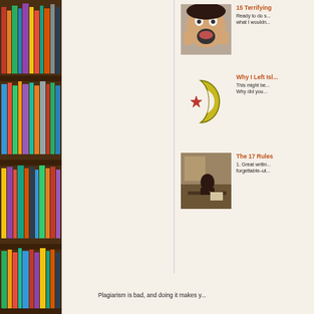[Figure (photo): Bookshelf filled with colorful books]
[Figure (photo): Person with surprised/scared expression, hands on cheeks]
15 Terrifying
Ready to do s... what I wouldn...
[Figure (illustration): Star and crescent moon symbol in gold/green and red]
Why I Left Isl...
This might be... Why did you...
[Figure (photo): Person writing at a desk, sepia/vintage style]
The 17 Rules
1. Great writin... forgettable–ut...
Plagiarism is bad, and doing it makes y...